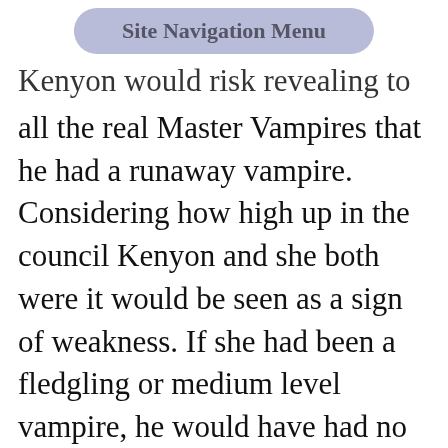Site Navigation Menu
Kenyon would risk revealing to all the real Master Vampires that he had a runaway vampire. Considering how high up in the council Kenyon and she both were it would be seen as a sign of weakness. If she had been a fledgling or medium level vampire, he would have had no hesitation exposing her escape.